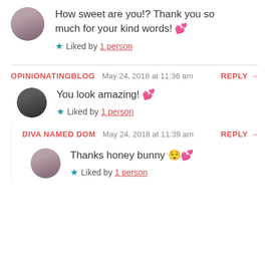How sweet are you!? Thank you so much for your kind words! 💕
★ Liked by 1 person
OPINIONATINGBLOG   May 24, 2018 at 11:36 am   REPLY →
You look amazing! 💕
★ Liked by 1 person
DIVA NAMED DOM   May 24, 2018 at 11:39 am   REPLY →
Thanks honey bunny 😌💕
★ Liked by 1 person